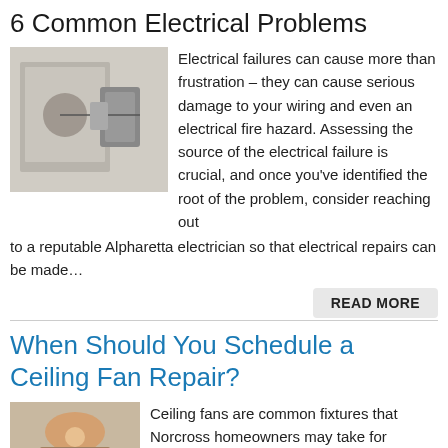6 Common Electrical Problems
[Figure (photo): Person using a multimeter to test an electrical outlet]
Electrical failures can cause more than frustration – they can cause serious damage to your wiring and even an electrical fire hazard. Assessing the source of the electrical failure is crucial, and once you've identified the root of the problem, consider reaching out to a reputable Alpharetta electrician so that electrical repairs can be made…
READ MORE
When Should You Schedule a Ceiling Fan Repair?
[Figure (photo): Person in red shirt working on a ceiling fan]
Ceiling fans are common fixtures that Norcross homeowners may take for granted until they begin to malfunction. When problems occur, an experienced electrician can troubleshoot the complication and…